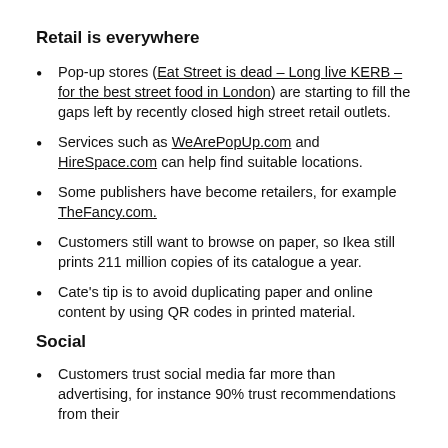Retail is everywhere
Pop-up stores (Eat Street is dead – Long live KERB – for the best street food in London) are starting to fill the gaps left by recently closed high street retail outlets.
Services such as WeArePopUp.com and HireSpace.com can help find suitable locations.
Some publishers have become retailers, for example TheFancy.com.
Customers still want to browse on paper, so Ikea still prints 211 million copies of its catalogue a year.
Cate's tip is to avoid duplicating paper and online content by using QR codes in printed material.
Social
Customers trust social media far more than advertising, for instance 90% trust recommendations from their